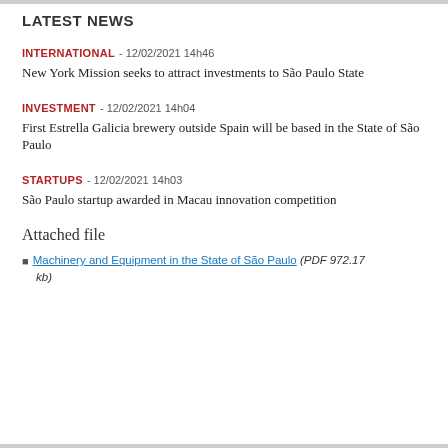LATEST NEWS
INTERNATIONAL - 12/02/2021 14h46
New York Mission seeks to attract investments to São Paulo State
INVESTMENT - 12/02/2021 14h04
First Estrella Galicia brewery outside Spain will be based in the State of São Paulo
STARTUPS - 12/02/2021 14h03
São Paulo startup awarded in Macau innovation competition
Attached file
Machinery and Equipment in the State of São Paulo (PDF 972.17 kb)